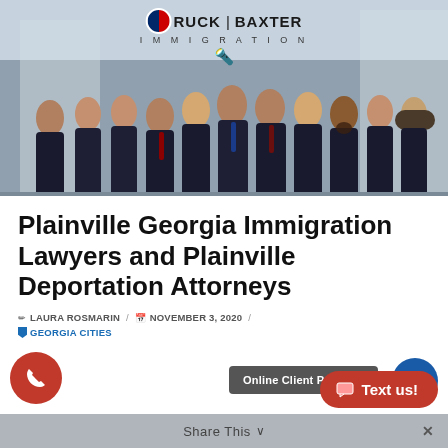[Figure (photo): Group photo of Ruck Baxter Immigration law firm team (approximately 11 people in business attire) standing in front of a building, with the Ruck Baxter Immigration logo overlay at the top center.]
Plainville Georgia Immigration Lawyers and Plainville Deportation Attorneys
LAURA ROSMARIN / NOVEMBER 3, 2020 / GEORGIA CITIES
Online Client Payment
Share This